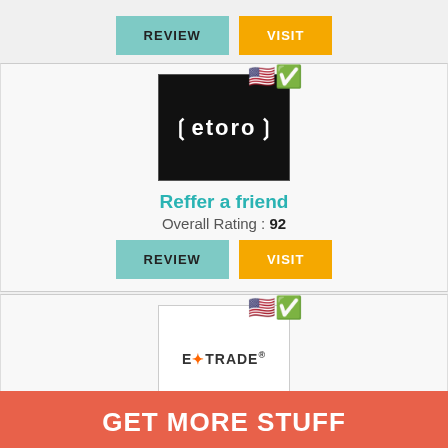[Figure (other): REVIEW and VISIT buttons in top bar]
[Figure (logo): eToro broker logo with US flag badge]
Reffer a friend
Overall Rating : 92
[Figure (other): REVIEW and VISIT buttons for eToro]
[Figure (logo): E*TRADE broker logo with US flag badge]
No bonus
Overall Rating : 88
[Figure (other): REVIEW and VISIT buttons for E*TRADE]
GET MORE STUFF